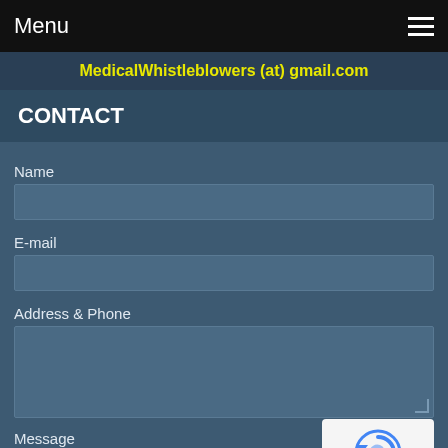Menu
MedicalWhistleblowers (at) gmail.com
CONTACT
Name
E-mail
Address & Phone
Message
[Figure (other): reCAPTCHA widget showing circular arrow logo with Privacy - Terms text]